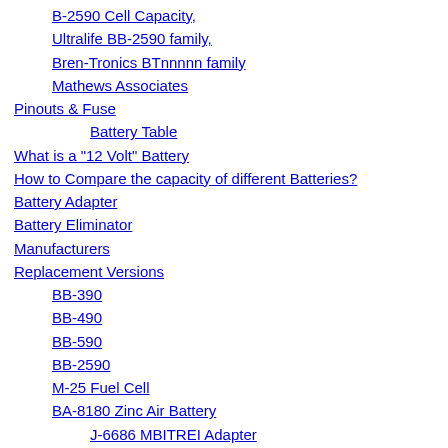B-2590 Cell Capacity,
Ultralife BB-2590 family,
Bren-Tronics BTnnnnn family
Mathews Associates
Pinouts & Fuse
Battery Table
What is a "12 Volt" Battery
How to Compare the capacity of different Batteries?
Battery Adapter
Battery Eliminator
Manufacturers
Replacement Versions
BB-390
BB-490
BB-590
BB-2590
M-25 Fuel Cell
BA-8180 Zinc Air Battery
J-6686 MBITREI Adapter
J-6687 Satcom HF Adapter
State of Charge
SAFETY
Battery Boxes
SINCGARS man pack CY-8523
CY-7875/PRC-104